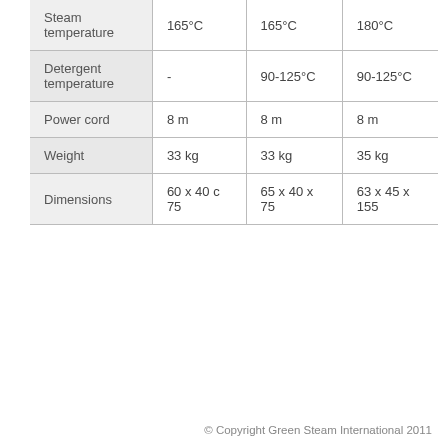| Steam temperature | 165°C | 165°C | 180°C |
| Detergent temperature | - | 90-125°C | 90-125°C |
| Power cord | 8 m | 8 m | 8 m |
| Weight | 33 kg | 33 kg | 35 kg |
| Dimensions | 60 x 40 c 75 | 65 x 40 x 75 | 63 x 45 x 155 |
© Copyright Green Steam International 2011